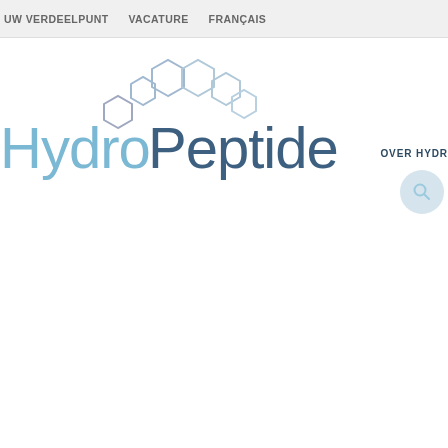UW VERDEELPUNT   VACATURE   FRANÇAIS
[Figure (logo): HydroPeptide logo with hexagonal molecular shapes above the text. 'Hydro' in light blue, 'Peptide' in dark blue, with hexagon outlines arranged above.]
OVER HYDR